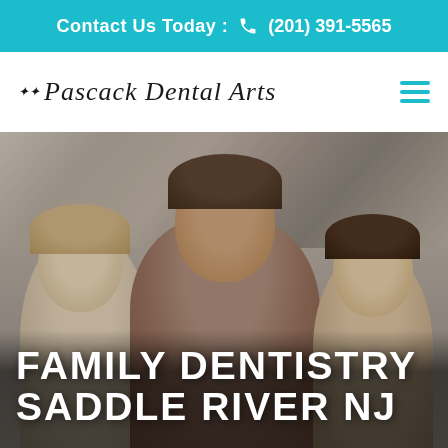Contact Us Today : (201) 391-5565
Pascack Dental Arts
[Figure (photo): A smiling woman with two young girls hugging her on either side, family dentistry hero image]
FAMILY DENTISTRY SADDLE RIVER NJ